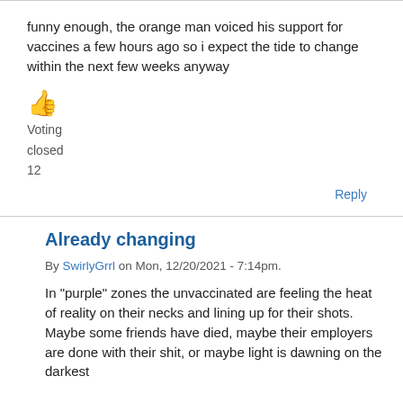funny enough, the orange man voiced his support for vaccines a few hours ago so i expect the tide to change within the next few weeks anyway
👍
Voting
closed
12
Reply
Already changing
By SwirlyGrrl on Mon, 12/20/2021 - 7:14pm.
In "purple" zones the unvaccinated are feeling the heat of reality on their necks and lining up for their shots. Maybe some friends have died, maybe their employers are done with their shit, or maybe light is dawning on the darkest